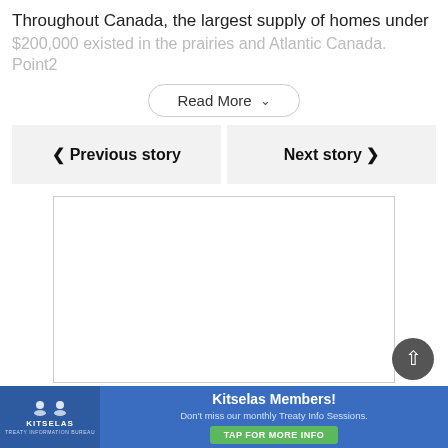Throughout Canada, the largest supply of homes under
$200,000 existed in the prairies and Atlantic Canada. Point2
Read More
◀ Previous story
Next story ▶
[Figure (other): Empty white rectangle with thin border, placeholder for content]
[Figure (other): Kitselas Members advertisement banner with logo, title, subtitle, and tap for more info button]